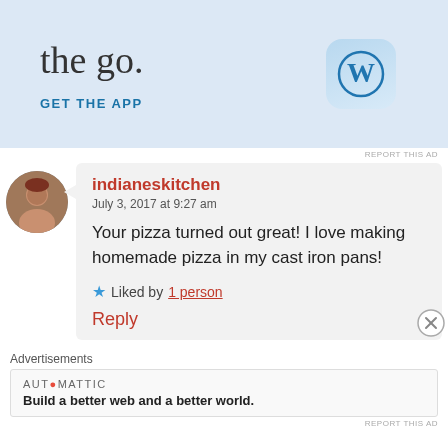[Figure (screenshot): Top portion of a WordPress app advertisement banner with text 'the go.' and 'GET THE APP' link with WordPress logo icon]
REPORT THIS AD
[Figure (photo): Circular avatar photo of a person with reddish hair]
indianeskitchen
July 3, 2017 at 9:27 am

Your pizza turned out great! I love making homemade pizza in my cast iron pans!

★ Liked by 1 person

Reply
[Figure (illustration): Circle X close button icon]
Advertisements
AUTOMATTIC
Build a better web and a better world.
REPORT THIS AD